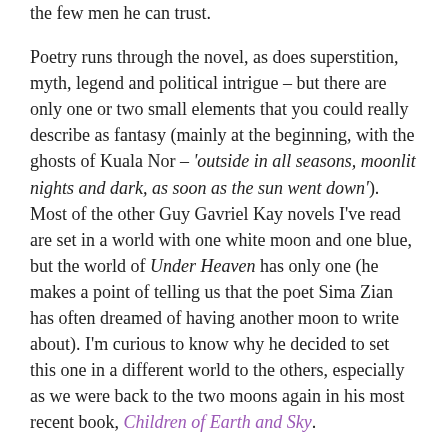the few men he can trust.
Poetry runs through the novel, as does superstition, myth, legend and political intrigue – but there are only one or two small elements that you could really describe as fantasy (mainly at the beginning, with the ghosts of Kuala Nor – 'outside in all seasons, moonlit nights and dark, as soon as the sun went down'). Most of the other Guy Gavriel Kay novels I've read are set in a world with one white moon and one blue, but the world of Under Heaven has only one (he makes a point of telling us that the poet Sima Zian has often dreamed of having another moon to write about). I'm curious to know why he decided to set this one in a different world to the others, especially as we were back to the two moons again in his most recent book, Children of Earth and Sky.